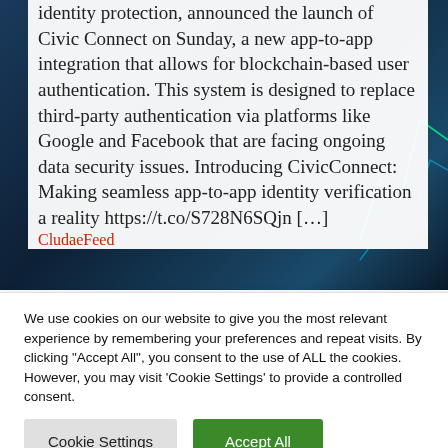identity protection, announced the launch of Civic Connect on Sunday, a new app-to-app integration that allows for blockchain-based user authentication. This system is designed to replace third-party authentication via platforms like Google and Facebook that are facing ongoing data security issues. Introducing CivicConnect: Making seamless app-to-app identity verification a reality https://t.co/S728N6SQjn […]
CludaeFood
We use cookies on our website to give you the most relevant experience by remembering your preferences and repeat visits. By clicking "Accept All", you consent to the use of ALL the cookies. However, you may visit 'Cookie Settings' to provide a controlled consent.
Cookie Settings
Accept All